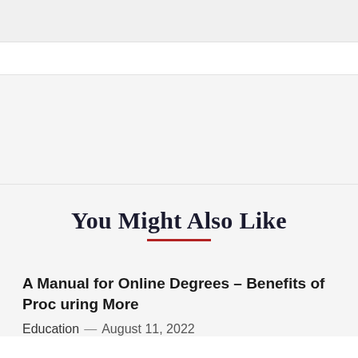[Figure (photo): Gray image placeholder area at top of page]
You Might Also Like
A Manual for Online Degrees – Benefits of Procuring More
Education — August 11, 2022